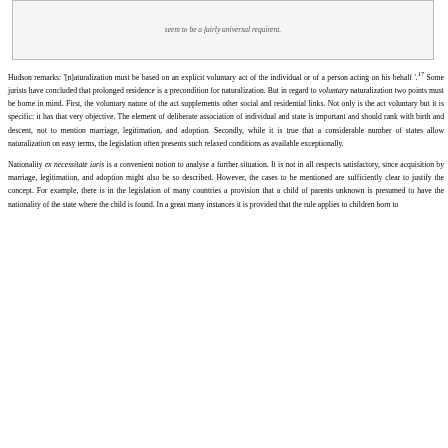seem to be a fairly universal requirent.
Hudson remarks: '[n]aturalization must be based on an explicit voluntary act of the individual or of a person acting on his behalf '.17 Some jurists have concluded that prolonged residence is a precondition for naturalization. But in regard to voluntary naturalization two points must be borne in mind. First, the voluntary nature of the act supplements other social and residential links. Not only is the act voluntary but it is specific: it has that very objective. The element of deliberate association of individual and state is important and should rank with birth and descent, not to mention marriage, legitimation, and adoption. Secondly, while it is true that a considerable number of states allow naturalization on easy terms, the legislation often presents such relaxed conditions as available exceptionally.
Nationality ex necessitate iuris is a convenient notion to analyse a further situation. It is not in all respects satisfactory, since acquisition by marriage, legitimation, and adoption might also be so described. However, the cases to be mentioned are sufficiently clear to justify the concept. For example, there is in the legislation of many countries a provision that a child of parents unknown is presumed to have the nationality of the state where the child is found. In a great many instances it is provided that the rule applies to children born to